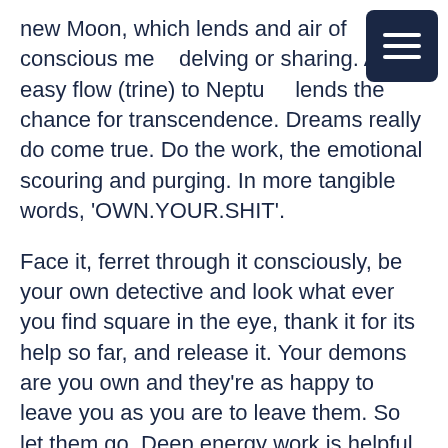new Moon, which lends and air of conscious me… delving or sharing. An easy flow (trine) to Neptu… lends the chance for transcendence. Dreams really do come true. Do the work, the emotional scouring and purging. In more tangible words, 'OWN.YOUR.SHIT'.
Face it, ferret through it consciously, be your own detective and look what ever you find square in the eye, thank it for its help so far, and release it. Your demons are you own and they're as happy to leave you as you are to leave them. So let them go. Deep energy work is helpful, psychotherapy, or even ecstatic dance can be helpful now. Sex magic is particularly potent.
Currently I'm writing this New Moon Post in India.